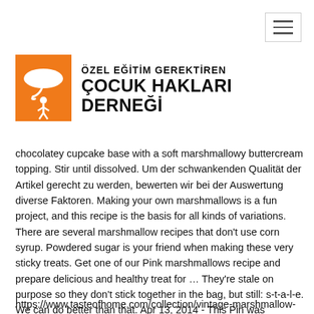[Figure (logo): Orange square logo with white umbrella and figure icon, next to Turkish text 'ÖZEL EĞİTİM GEREKTİREN ÇOCUK HAKLARI DERNEĞİ']
chocolatey cupcake base with a soft marshmallowy buttercream topping. Stir until dissolved. Um der schwankenden Qualität der Artikel gerecht zu werden, bewerten wir bei der Auswertung diverse Faktoren. Making your own marshmallows is a fun project, and this recipe is the basis for all kinds of variations. There are several marshmallow recipes that don't use corn syrup. Powdered sugar is your friend when making these very sticky treats. Get one of our Pink marshmallows recipe and prepare delicious and healthy treat for … They're stale on purpose so they don't stick together in the bag, but still: s-t-a-l-e. We can do better than that. Apr 13, 2014 - This Pin was discovered by Jennifer Gilmore. Many of them can easily substitute Stuffed Puffs for regular marshmallows. Tint with a few drops of food colouring.
https://www.tasteofhome.com/collection/vintage-marshmallow-